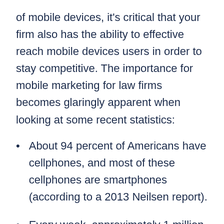of mobile devices, it's critical that your firm also has the ability to effective reach mobile devices users in order to stay competitive. The importance for mobile marketing for law firms becomes glaringly apparent when looking at some recent statistics:
About 94 percent of Americans have cellphones, and most of these cellphones are smartphones (according to a 2013 Neilsen report).
Every week, approximately 1 million people in the U.S. get their first smartphones (according to an industry research website.